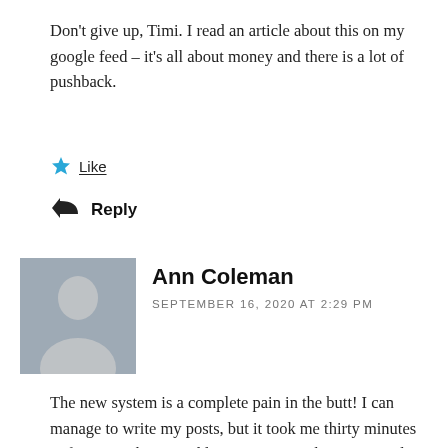Don't give up, Timi. I read an article about this on my google feed – it's all about money and there is a lot of pushback.
★ Like
↩ Reply
Ann Coleman
SEPTEMBER 16, 2020 AT 2:29 PM
The new system is a complete pain in the butt! I can manage to write my posts, but it took me thirty minutes to figure out how to add a picture just where I wanted it. The whole new format is designed for blogs that are commercial, not just for writers. Why in the world couldn't they just create a separate format for commercial blogs